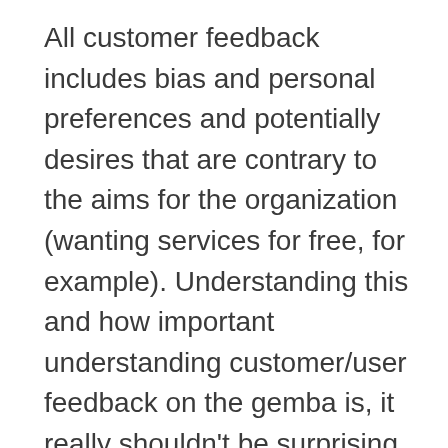All customer feedback includes bias and personal preferences and potentially desires that are contrary to the aims for the organization (wanting services for free, for example). Understanding this and how important understanding customer/user feedback on the gemba is, it really shouldn't be surprising that the police would want that data. But I think it may well be that process thinking, evidence based management and such ideas are still not widely practiced as so the Madison police department's actions are still